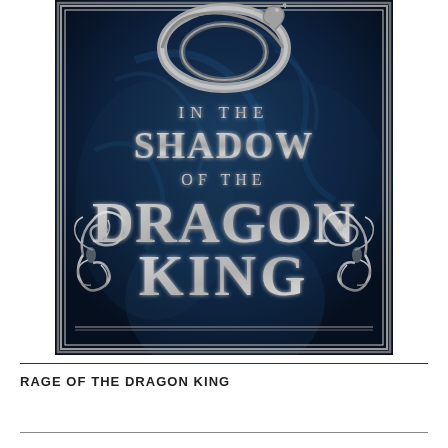[Figure (illustration): Book cover for 'In the Shadow of the Dragon King' — dark navy blue background with swirling smoke/texture patterns, large silver serpentine dragon coiled at top, ornate silver filigree decorative scrollwork in lower corners, silver metallic text reading 'IN THE SHADOW OF THE DRAGON KING' with decorative borders and frame]
RAGE OF THE DRAGON KING